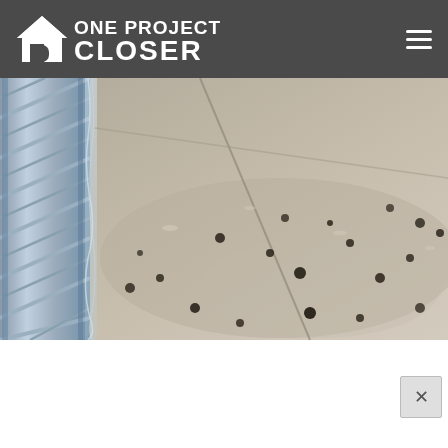[Figure (logo): One Project Closer logo — white house icon and white text on dark gray header bar]
[Figure (photo): Close-up photo of water or liquid cascading over a diamond-plate metal ramp or threshold onto a wet concrete or sandy surface with scattered dark debris/spots]
[Figure (other): Close button (X) overlay in bottom-right corner of screen]